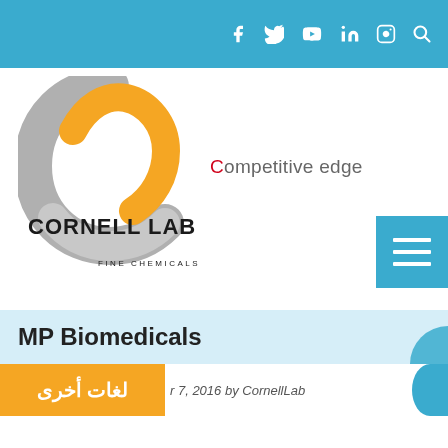Social media icons: Facebook, Twitter, YouTube, LinkedIn, Instagram, Search
[Figure (logo): Cornell Lab Fine Chemicals & Lab Equipment logo — grey circular swoosh with orange inner arc, black text CORNELL LAB below]
Competitive edge
[Figure (other): Blue hamburger menu button (three white horizontal bars) in bottom-right of header]
MP Biomedicals
Posted on November 7, 2016 by CornellLab
لغات أخرى